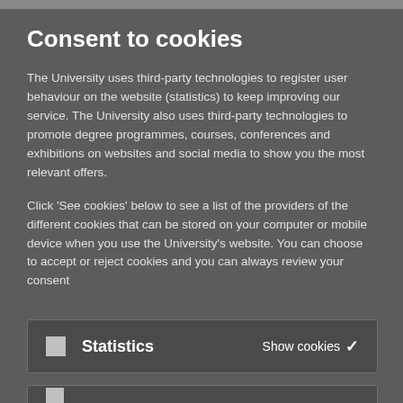Consent to cookies
The University uses third-party technologies to register user behaviour on the website (statistics) to keep improving our service. The University also uses third-party technologies to promote degree programmes, courses, conferences and exhibitions on websites and social media to show you the most relevant offers.
Click 'See cookies' below to see a list of the providers of the different cookies that can be stored on your computer or mobile device when you use the University's website. You can choose to accept or reject cookies and you can always review your consent
Statistics   Show cookies